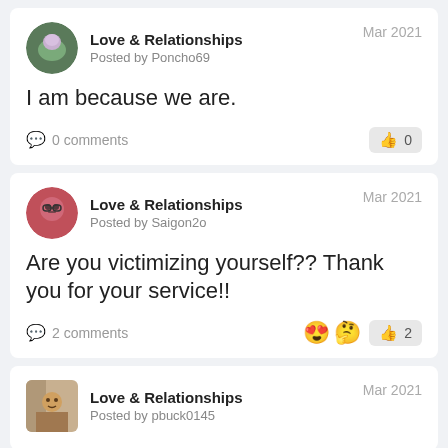[Figure (other): Social media post card 1: Love & Relationships category, posted by Poncho69, Mar 2021, text: I am because we are. 0 comments, 0 likes.]
Love & Relationships
Posted by Poncho69
Mar 2021
I am because we are.
💬 0 comments
👍 0
[Figure (other): Social media post card 2: Love & Relationships category, posted by Saigon2o, Mar 2021, text: Are you victimizing yourself?? Thank you for your service!! 2 comments, 2 likes, emoji reactions.]
Love & Relationships
Posted by Saigon2o
Mar 2021
Are you victimizing yourself?? Thank you for your service!!
💬 2 comments
😍🤔 👍 2
[Figure (other): Social media post card 3: Love & Relationships category, posted by pbuck0145, Mar 2021, partially visible.]
Love & Relationships
Posted by pbuck0145
Mar 2021